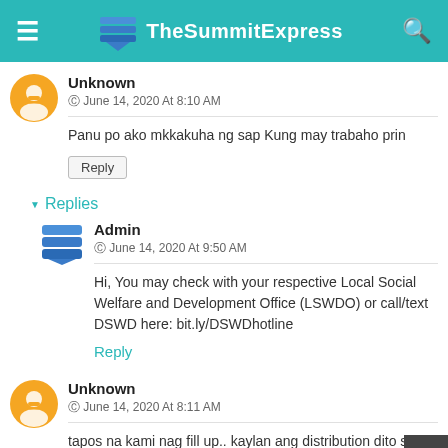TheSummitExpress
Unknown
© June 14, 2020 At 8:10 AM
Panu po ako mkkakuha ng sap Kung may trabaho prin
Reply
▼ Replies
Admin
© June 14, 2020 At 9:50 AM
Hi, You may check with your respective Local Social Welfare and Development Office (LSWDO) or call/text DSWD here: bit.ly/DSWDhotline
Reply
Unknown
© June 14, 2020 At 8:11 AM
tapos na kami nag fill up.. kaylan ang distribution dito sa brgy.8 Pasay